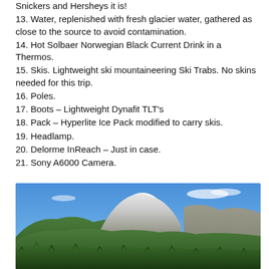Snickers and Hersheys it is!
13. Water, replenished with fresh glacier water, gathered as close to the source to avoid contamination.
14. Hot Solbaer Norwegian Black Current Drink in a Thermos.
15. Skis. Lightweight ski mountaineering Ski Trabs. No skins needed for this trip.
16. Poles.
17. Boots – Lightweight Dynafit TLT's
18. Pack – Hyperlite Ice Pack modified to carry skis.
19. Headlamp.
20. Delorme InReach – Just in case.
21. Sony A6000 Camera.
[Figure (photo): Mountain landscape with a snow-capped peak in the center background, dense evergreen forest in the foreground, rocky ridge on the right, under a bright blue sky with light clouds.]